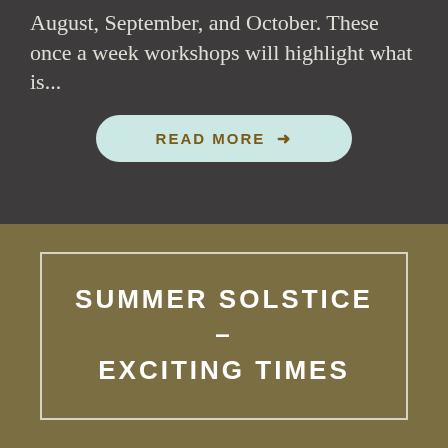August, September, and October. These once a week workshops will highlight what is...
READ MORE →
SUMMER SOLSTICE – EXCITING TIMES